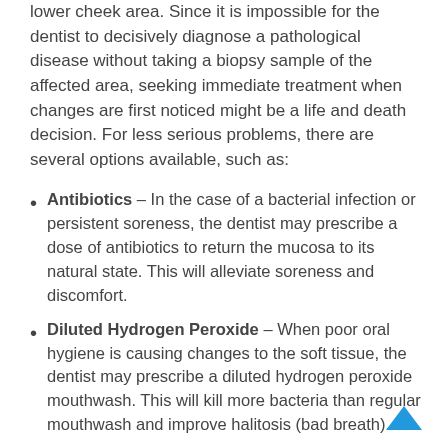lower cheek area. Since it is impossible for the dentist to decisively diagnose a pathological disease without taking a biopsy sample of the affected area, seeking immediate treatment when changes are first noticed might be a life and death decision. For less serious problems, there are several options available, such as:
Antibiotics – In the case of a bacterial infection or persistent soreness, the dentist may prescribe a dose of antibiotics to return the mucosa to its natural state. This will alleviate soreness and discomfort.
Diluted Hydrogen Peroxide – When poor oral hygiene is causing changes to the soft tissue, the dentist may prescribe a diluted hydrogen peroxide mouthwash. This will kill more bacteria than regular mouthwash and improve halitosis (bad breath).
Oral Surgery – If the patient has cysts or